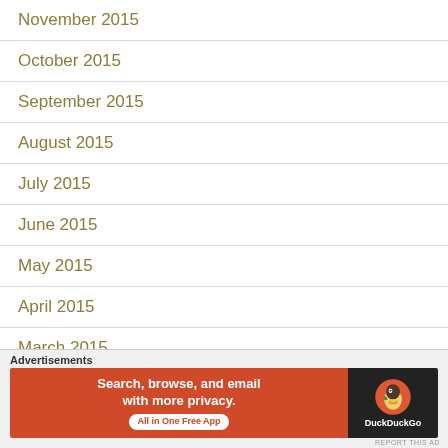November 2015
October 2015
September 2015
August 2015
July 2015
June 2015
May 2015
April 2015
March 2015
February 2015
[Figure (screenshot): DuckDuckGo advertisement banner: 'Search, browse, and email with more privacy. All in One Free App' with DuckDuckGo logo on dark background.]